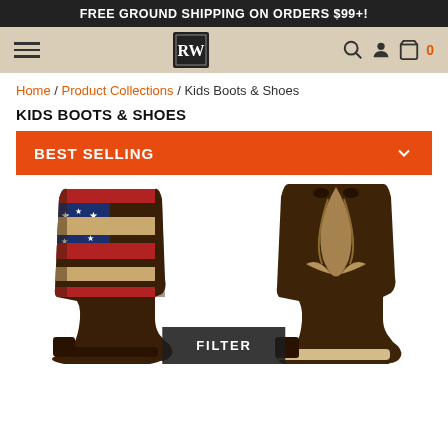FREE GROUND SHIPPING ON ORDERS $99+!
[Figure (screenshot): Navigation bar with hamburger menu, RW logo stamp, search icon, user icon, and cart icon with badge showing 0]
Home / Product Collections / Kids Boots & Shoes
KIDS BOOTS & SHOES
BEST SELLING
[Figure (photo): Two kids cowboy boots: left boot with American flag design (stars and stripes in blue, red, and tan), right boot with dark brown leather and tan decorative stitching pattern]
FILTER